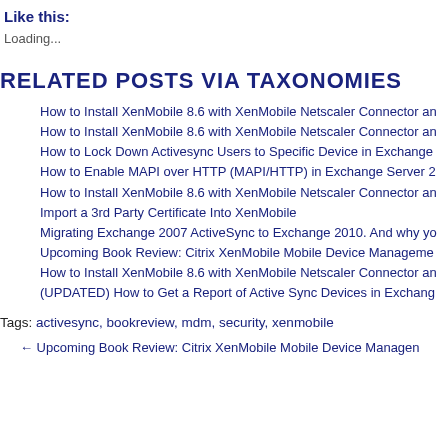Like this:
Loading...
RELATED POSTS VIA TAXONOMIES
How to Install XenMobile 8.6 with XenMobile Netscaler Connector an
How to Install XenMobile 8.6 with XenMobile Netscaler Connector an
How to Lock Down Activesync Users to Specific Device in Exchange
How to Enable MAPI over HTTP (MAPI/HTTP) in Exchange Server 2
How to Install XenMobile 8.6 with XenMobile Netscaler Connector an
Import a 3rd Party Certificate Into XenMobile
Migrating Exchange 2007 ActiveSync to Exchange 2010. And why yo
Upcoming Book Review: Citrix XenMobile Mobile Device Manageme
How to Install XenMobile 8.6 with XenMobile Netscaler Connector an
(UPDATED) How to Get a Report of Active Sync Devices in Exchang
Tags: activesync, bookreview, mdm, security, xenmobile
← Upcoming Book Review: Citrix XenMobile Mobile Device Managen